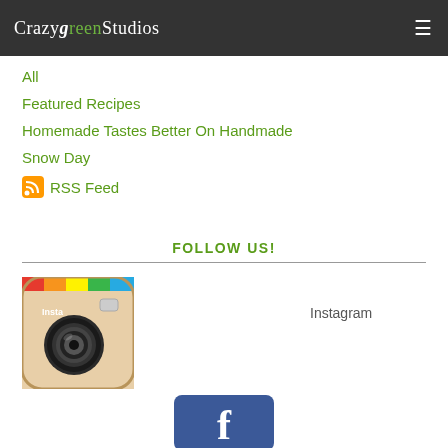CrazyGreenStudios
All
Featured Recipes
Homemade Tastes Better On Handmade
Snow Day
RSS Feed
FOLLOW US!
[Figure (logo): Instagram app icon - brown/tan rounded square with camera lens and colorful stripe]
Instagram
[Figure (logo): Facebook logo icon - blue rounded rectangle with white 'f']